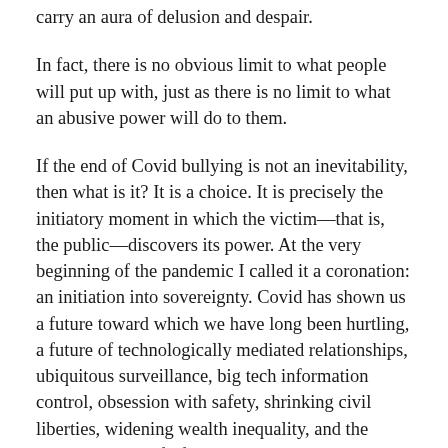carry an aura of delusion and despair.
In fact, there is no obvious limit to what people will put up with, just as there is no limit to what an abusive power will do to them.
If the end of Covid bullying is not an inevitability, then what is it? It is a choice. It is precisely the initiatory moment in which the victim—that is, the public—discovers its power. At the very beginning of the pandemic I called it a coronation: an initiation into sovereignty. Covid has shown us a future toward which we have long been hurtling, a future of technologically mediated relationships, ubiquitous surveillance, big tech information control, obsession with safety, shrinking civil liberties, widening wealth inequality, and the medicalization of life. All these trends predate Covid. Now we see in sharp relief where we have been